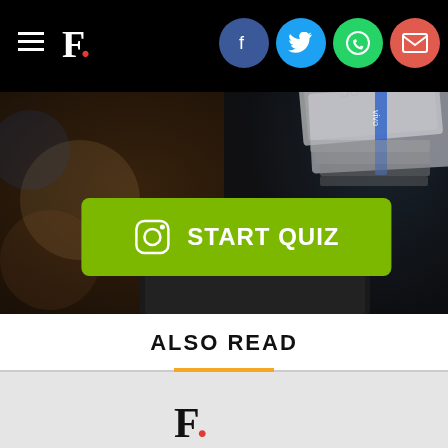F. [hamburger menu + logo + social share icons: Facebook, Twitter, WhatsApp, Email]
[Figure (photo): Dark background photo showing currency notes and what appears to be a wallet or mobile device, with a START QUIZ button overlay in green]
START QUIZ
ALSO READ
[Figure (photo): Partially visible card or article preview at the bottom with a logo visible]